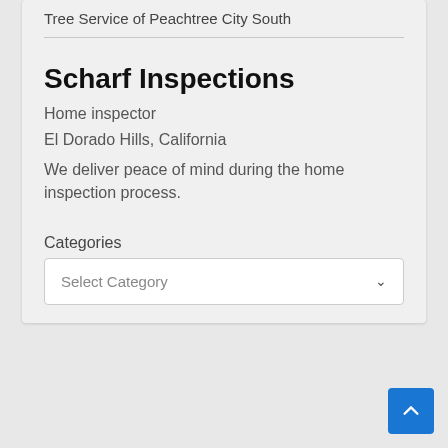Tree Service of Peachtree City South
Scharf Inspections
Home inspector
El Dorado Hills, California
We deliver peace of mind during the home inspection process.
Categories
Select Category